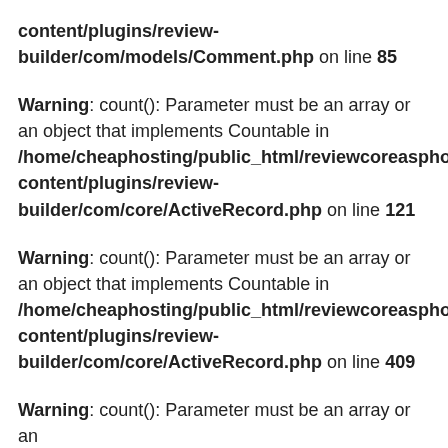content/plugins/review-builder/com/models/Comment.php on line 85
Warning: count(): Parameter must be an array or an object that implements Countable in /home/cheaphosting/public_html/reviewcoreasphosti content/plugins/review-builder/com/core/ActiveRecord.php on line 121
Warning: count(): Parameter must be an array or an object that implements Countable in /home/cheaphosting/public_html/reviewcoreasphosti content/plugins/review-builder/com/core/ActiveRecord.php on line 409
Warning: count(): Parameter must be an array or an